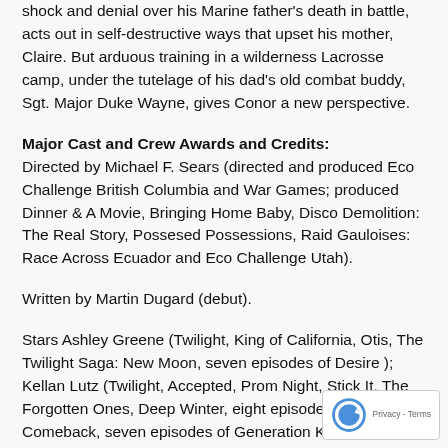shock and denial over his Marine father's death in battle, acts out in self-destructive ways that upset his mother, Claire. But arduous training in a wilderness Lacrosse camp, under the tutelage of his dad's old combat buddy, Sgt. Major Duke Wayne, gives Conor a new perspective.
Major Cast and Crew Awards and Credits: Directed by Michael F. Sears (directed and produced Eco Challenge British Columbia and War Games; produced Dinner & A Movie, Bringing Home Baby, Disco Demolition: The Real Story, Possesed Possessions, Raid Gauloises: Race Across Ecuador and Eco Challenge Utah).
Written by Martin Dugard (debut).
Stars Ashley Greene (Twilight, King of California, Otis, The Twilight Saga: New Moon, seven episodes of Desire ); Kellan Lutz (Twilight, Accepted, Prom Night, Stick It, The Forgotten Ones, Deep Winter, eight episodes of The Comeback, seven episodes of Generation Kill, six episodes of 90210 and 13 other movies and TV projects) and Gabrielle Anwar (nominated for Saturn Award f... The Librarian: Return to King Solomon's Mines and Gemini Aw... for The Tudors; also appeared in Scent of a Woman, The Thr... Musketeers, Things to Do in Denver When You're Dead, Body